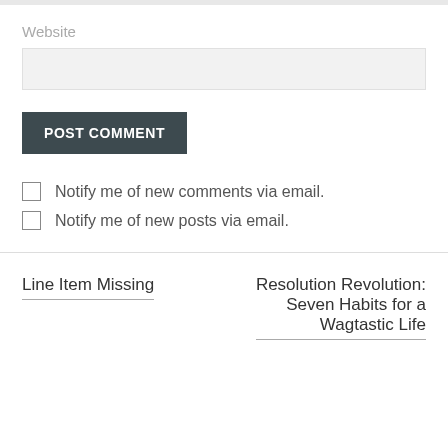Website
POST COMMENT
Notify me of new comments via email.
Notify me of new posts via email.
Line Item Missing
Resolution Revolution: Seven Habits for a Wagtastic Life